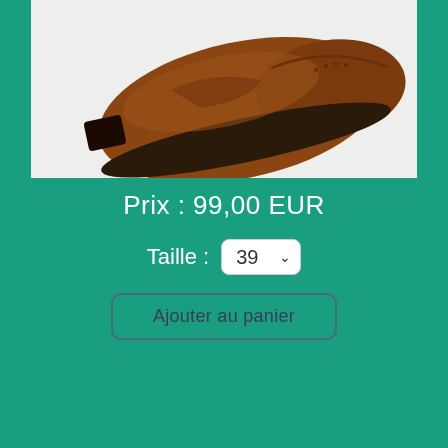[Figure (photo): Brown leather Oxford/Derby shoe photographed from above-side angle on a light grey/white background. The shoe shows cap toe detail and dark rubber sole.]
Prix : 99,00 EUR
Taille : 39
Ajouter au panier